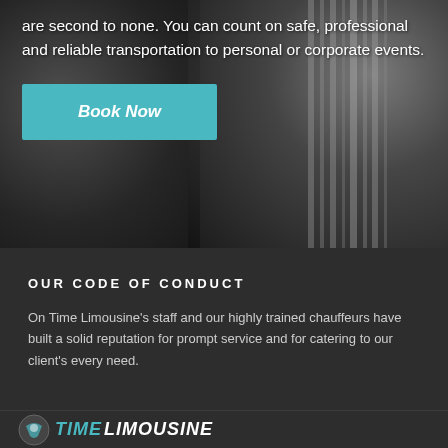[Figure (photo): Dark background photo of two people in formal business attire, one adjusting a striped tie, overlaid with white text and a teal 'Book Now' button.]
are second to none. You can count on safe, professional and reliable transportation to personal or corporate events.
Book Now
OUR CODE OF CONDUCT
On Time Limousine's staff and our highly trained chauffeurs have built a solid reputation for prompt service and for catering to our client's every need.
[Figure (logo): On Time Limousine logo with circular icon, teal 'TIME' text and white 'Limousine' text.]